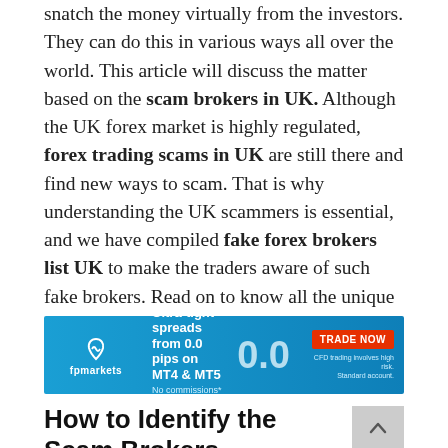snatch the money virtually from the investors. They can do this in various ways all over the world. This article will discuss the matter based on the scam brokers in UK. Although the UK forex market is highly regulated, forex trading scams in UK are still there and find new ways to scam. That is why understanding the UK scammers is essential, and we have compiled fake forex brokers list UK to make the traders aware of such fake brokers. Read on to know all the unique ways for forex trading scams in UK and a list of forex scams in UK.
[Figure (other): FP Markets advertisement banner: Ultra-tight spreads from 0.0 pips on MT4 & MT5. No commissions. No requotes. TRADE NOW button. CFD trading involves high risk. Standard account.]
How to Identify the Scam Brokers